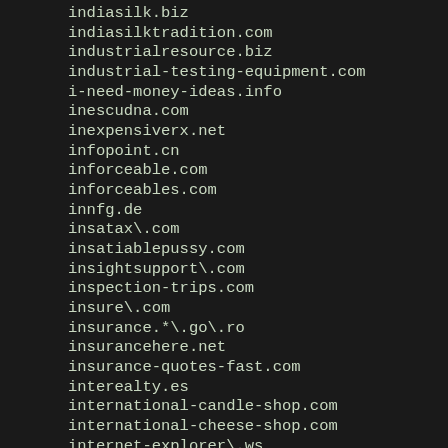indiasilk.biz
indiasilktradition.com
industrialresource.biz
industrial-testing-equipment.com
i-need-money-ideas.info
inescudna.com
inexpensiverx.net
infopoint.cn
inforceable.com
inforceables.com
innfg.de
insatax\.com
insatiablepussy.com
insightsupport\.com
inspection-trips.com
insure\.com
insurance.*\.go\.ro
insurancehere.net
insurance-quotes-fast.com
interealty.es
international-candle-shop.com
international-cheese-shop.com
internet-explorer\.ws
internet-goulasch.com
internette-anbieter.de